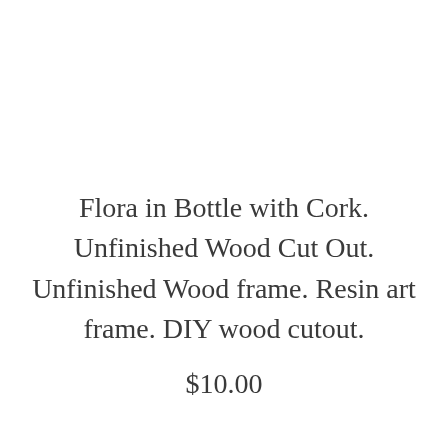Flora in Bottle with Cork. Unfinished Wood Cut Out. Unfinished Wood frame. Resin art frame. DIY wood cutout.
$10.00